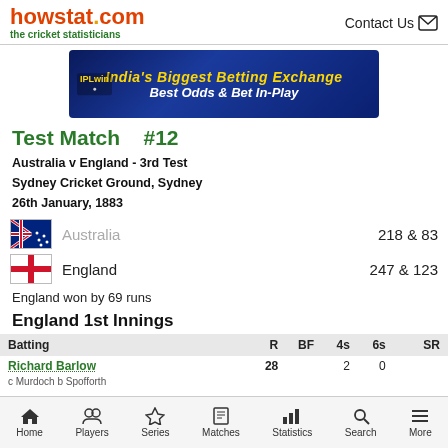howstat.com the cricket statisticians | Contact Us
[Figure (infographic): IPLwin banner ad: India's Biggest Betting Exchange, Best Odds & Bet In-Play]
Test Match   #12
Australia v England - 3rd Test
Sydney Cricket Ground, Sydney
26th January, 1883
Australia   218 & 83
England   247 & 123
England won by 69 runs
England 1st Innings
| Batting | R | BF | 4s | 6s | SR |
| --- | --- | --- | --- | --- | --- |
| Richard Barlow | 28 |  | 2 | 0 |  |
| c Murdoch b Spofforth |  |  |  |  |  |
Home | Players | Series | Matches | Statistics | Search | More